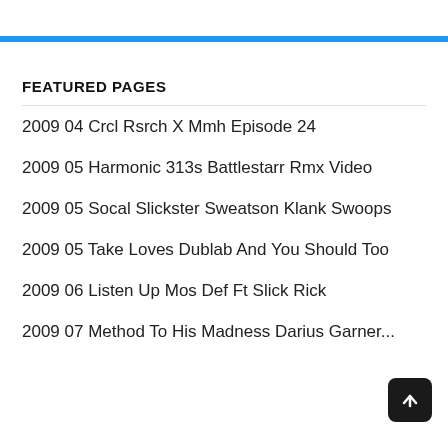FEATURED PAGES
2009 04 Crcl Rsrch X Mmh Episode 24
2009 05 Harmonic 313s Battlestarr Rmx Video
2009 05 Socal Slickster Sweatson Klank Swoops
2009 05 Take Loves Dublab And You Should Too
2009 06 Listen Up Mos Def Ft Slick Rick
2009 07 Method To His Madness Darius Garner...